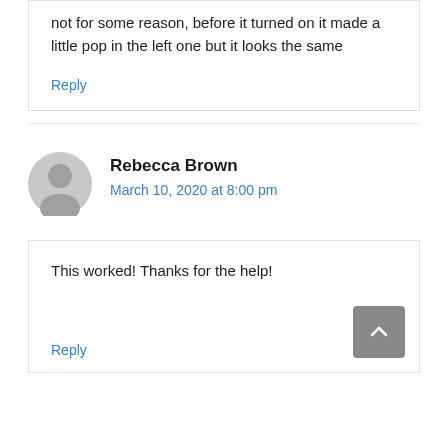not for some reason, before it turned on it made a little pop in the left one but it looks the same
Reply
Rebecca Brown
March 10, 2020 at 8:00 pm
This worked! Thanks for the help!
Reply